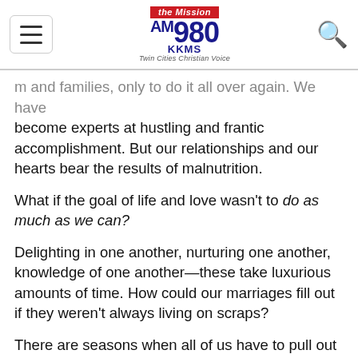The Mission AM 980 KKMS — Twin Cities Christian Voice
...and families, only to do it all over again. We have become experts at hustling and frantic accomplishment. But our relationships and our hearts bear the results of malnutrition.
What if the goal of life and love wasn't to do as much as we can?
Delighting in one another, nurturing one another, knowledge of one another—these take luxurious amounts of time. How could our marriages fill out if they weren't always living on scraps?
There are seasons when all of us have to pull out the stops to make life happen. But frenetic must be the exception—the unique season—rather than the rule.
Here are 10 ways to reduce stress in your marriage and